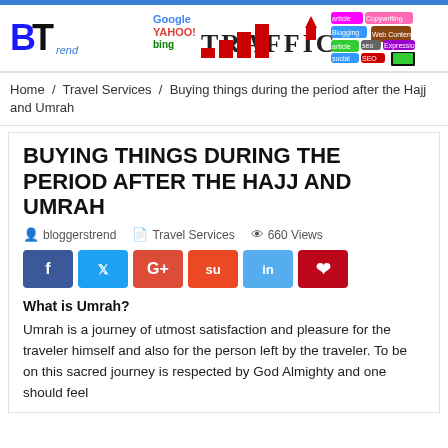[Figure (logo): BT Bloggers Trend logo with traffic/SEO themed header graphic]
Home / Travel Services / Buying things during the period after the Hajj and Umrah
BUYING THINGS DURING THE PERIOD AFTER THE HAJJ AND UMRAH
bloggerstrend   Travel Services   660 Views
[Figure (infographic): Social share buttons: Facebook, Twitter, Google+, StumbleUpon, LinkedIn, Pinterest]
What is Umrah?
Umrah is a journey of utmost satisfaction and pleasure for the traveler himself and also for the person left by the traveler. To be on this sacred journey is respected by God Almighty and one should feel